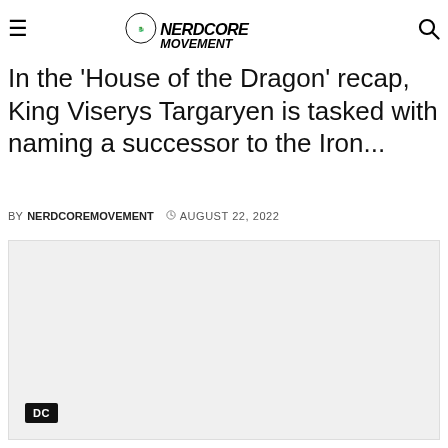Nerdcore Movement — navigation bar with hamburger menu, logo, and search icon
Heirs of the Dragon': The Line of Succession
In the 'House of the Dragon' recap, King Viserys Targaryen is tasked with naming a successor to the Iron...
BY NERDCOREMOVEMENT  © AUGUST 22, 2022
[Figure (photo): Large image placeholder area with light gray background, DC badge in lower-left corner]